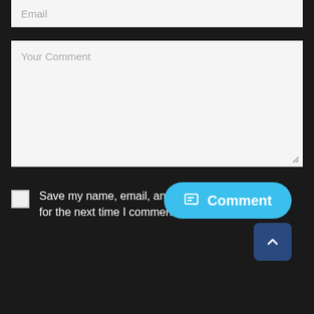[Figure (screenshot): Email input field with placeholder text 'Email' on a dark background]
[Figure (screenshot): Textarea comment field with placeholder text 'Your Comment' on a dark background]
Save my name, email, and website in this browser for the next time I comment.
[Figure (other): Blue rounded 'Comment' button with edit icon, and a dark blue scroll-to-top button with chevron up arrow]